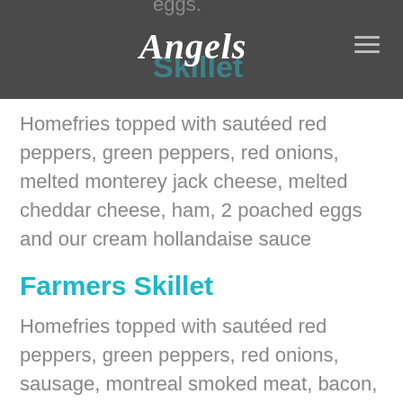Angels
Homefries topped with sautéed red peppers, green peppers, red onions, melted monterey jack cheese, melted cheddar cheese, ham, 2 poached eggs and our cream hollandaise sauce
Farmers Skillet
Homefries topped with sautéed red peppers, green peppers, red onions, sausage, montreal smoked meat, bacon, melted monterey jack cheese, melted cheddar cheese and 2 poached eggs
Canadian Skillet